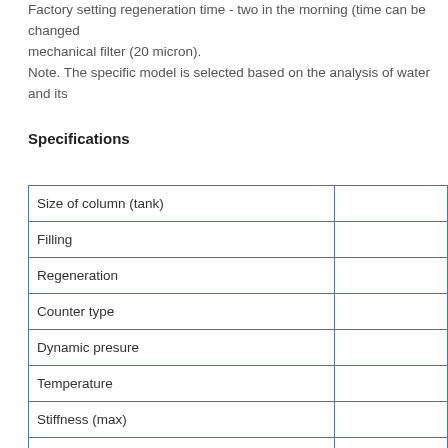Factory setting regeneration time - two in the morning (time can be changed mechanical filter (20 micron). Note. The specific model is selected based on the analysis of water and its
Specifications
|  |  |
| --- | --- |
| Size of column (tank) |  |
| Filling |  |
| Regeneration |  |
| Counter type |  |
| Dynamic presure |  |
| Temperature |  |
| Stiffness (max) |  |
| Productivity |  |